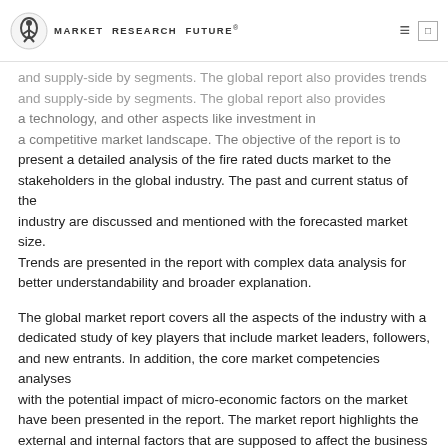MARKET RESEARCH FUTURE
and supply-side by segments. The global report also provides trends and supply-side by segments. The global report also provides trends a technology, and other aspects like investment in a competitive market landscape. The objective of the report is to present a detailed analysis of the fire rated ducts market to the stakeholders in the global industry. The past and current status of the industry are discussed and mentioned with the forecasted market size. Trends are presented in the report with complex data analysis for better understandability and broader explanation.
The global market report covers all the aspects of the industry with a dedicated study of key players that include market leaders, followers, and new entrants. In addition, the core market competencies analyses with the potential impact of micro-economic factors on the market have been presented in the report. The market report highlights the external and internal factors that are supposed to affect the business positively or negatively have been analyzed, giving the decision-makers a transparent, futuristic view of the industry to the market investors and business owners.
Report Scope: